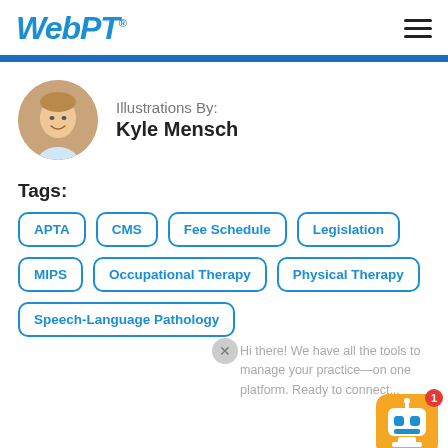WebPT
Illustrations By:
Kyle Mensch
Tags:
APTA
CMS
Fee Schedule
Legislation
MIPS
Occupational Therapy
Physical Therapy
Speech-Language Pathology
Hi there! We have all the tools to manage your practice—on one platform. Ready to connect...